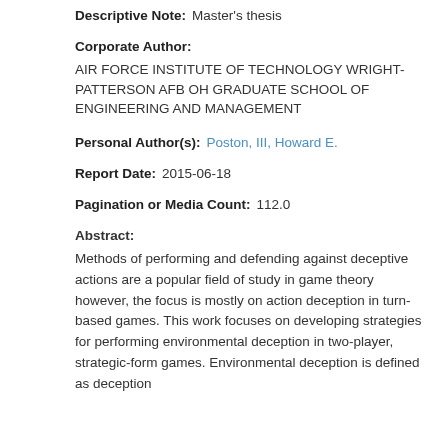Descriptive Note: Master's thesis
Corporate Author:
AIR FORCE INSTITUTE OF TECHNOLOGY WRIGHT-PATTERSON AFB OH GRADUATE SCHOOL OF ENGINEERING AND MANAGEMENT
Personal Author(s): Poston, III, Howard E.
Report Date: 2015-06-18
Pagination or Media Count: 112.0
Abstract:
Methods of performing and defending against deceptive actions are a popular field of study in game theory however, the focus is mostly on action deception in turn-based games. This work focuses on developing strategies for performing environmental deception in two-player, strategic-form games. Environmental deception is defined as deception